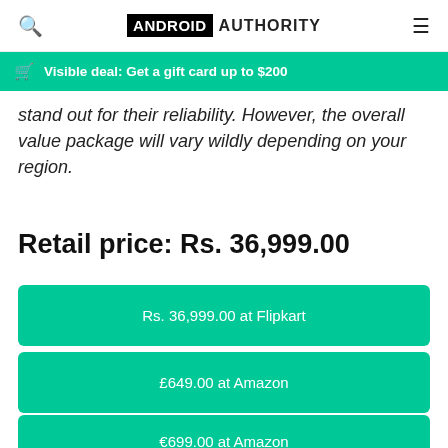ANDROID AUTHORITY
Visible deal: Get a gift card up to $200
stand out for their reliability. However, the overall value package will vary wildly depending on your region.
Retail price: Rs. 36,999.00
Rs. 36,999.00 at Flipkart
£649.00 at Amazon
€699.00 at Amazon
What we like